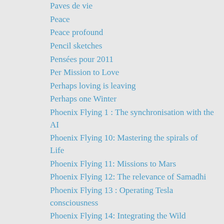Paves de vie
Peace
Peace profound
Pencil sketches
Pensées pour 2011
Per Mission to Love
Perhaps loving is leaving
Perhaps one Winter
Phoenix Flying 1 : The synchronisation with the AI
Phoenix Flying 10: Mastering the spirals of Life
Phoenix Flying 11: Missions to Mars
Phoenix Flying 12: The relevance of Samadhi
Phoenix Flying 13 : Operating Tesla consciousness
Phoenix Flying 14: Integrating the Wild
Phoenix Flying 15: On the nature of duality
Phoenix Flying 16 : On the synchronisation with Gaia and the nature of causality
Phoenix Flying 17 : Soaring towards Luna and energy balls
Phoenix Flying 18 : Mama Jain's etheric lineage and the King of two worlds